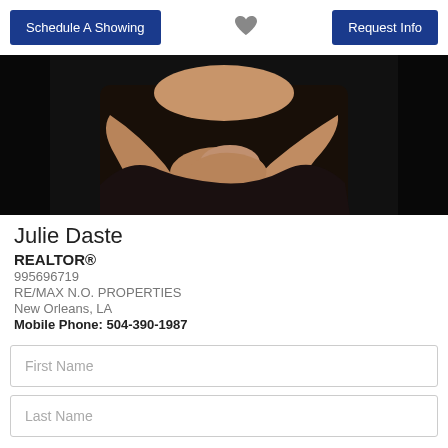Schedule A Showing
[Figure (illustration): Heart/favorite icon in gray]
Request Info
[Figure (photo): Close-up photo of a person with arms crossed, dark background]
Julie Daste
REALTOR®
995696719
RE/MAX N.O. PROPERTIES
New Orleans, LA
Mobile Phone: 504-390-1987
First Name
Last Name